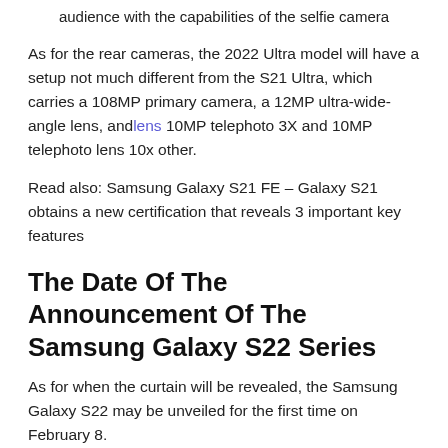audience with the capabilities of the selfie camera
As for the rear cameras, the 2022 Ultra model will have a setup not much different from the S21 Ultra, which carries a 108MP primary camera, a 12MP ultra-wide-angle lens, andlens 10MP telephoto 3X and 10MP telephoto lens 10x other.
Read also: Samsung Galaxy S21 FE – Galaxy S21 obtains a new certification that reveals 3 important key features
The Date Of The Announcement Of The Samsung Galaxy S22 Series
As for when the curtain will be revealed, the Samsung Galaxy S22 may be unveiled for the first time on February 8.